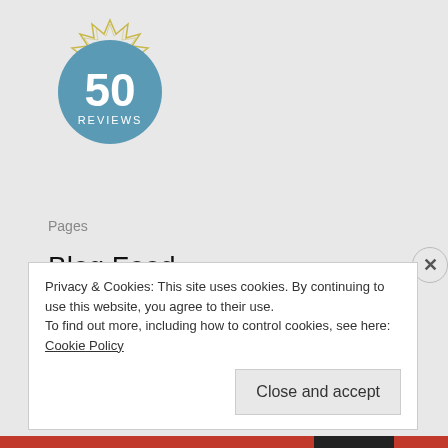[Figure (illustration): A circular badge with '50 REVIEWS' text, blue circle center with white text '50' large and 'REVIEWS' smaller below, surrounded by a decorative gold/yellow star-burst border on a light background.]
Pages
Blog Feed
Book Tags
Home
Reviews (A-Z)
TTT Posts
Privacy & Cookies: This site uses cookies. By continuing to use this website, you agree to their use.
To find out more, including how to control cookies, see here: Cookie Policy
Close and accept